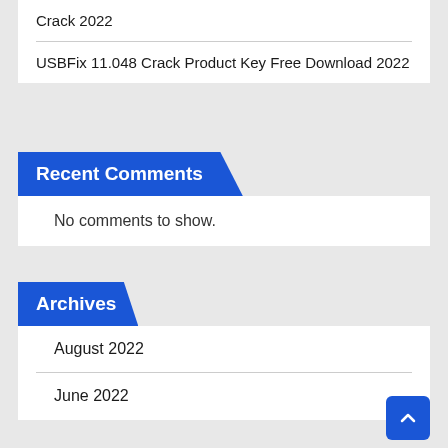Crack 2022
USBFix 11.048 Crack Product Key Free Download 2022
Recent Comments
No comments to show.
Archives
August 2022
June 2022